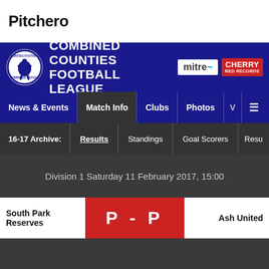Pitchero
[Figure (logo): Combined Counties Football League banner with crest, mitre and Cherry Red Records sponsor logos]
News & Events | Match Info | Clubs | Photos | V | ≡
16-17 Archive: Results | Standings | Goal Scorers | Resu...
Division 1 Saturday 11 February 2017, 15:00
South Park Reserves  P - P  Ash United
FORM GUIDE    LEAGUE ROUND UP